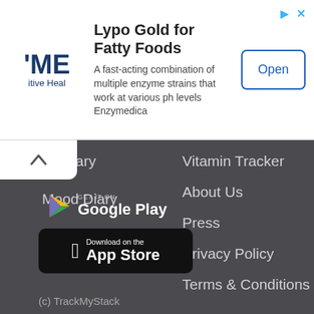[Figure (screenshot): Advertisement banner for Lypo Gold for Fatty Foods by Enzymedica showing partial logo, title, description text, and Open button]
Lypo Gold for Fatty Foods
A fast-acting combination of multiple enzyme strains that work at various ph levels Enzymedica
lth Diary
Vitamin Tracker
Mood Diary
About Us
Press
Privacy Policy
Terms & Conditions
[Figure (logo): GET IT ON Google Play button]
[Figure (logo): Download on the App Store button]
(c) TrackMyStack